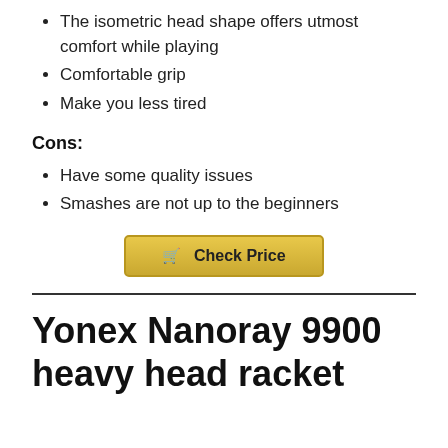The isometric head shape offers utmost comfort while playing
Comfortable grip
Make you less tired
Cons:
Have some quality issues
Smashes are not up to the beginners
[Figure (other): Check Price button with shopping cart icon]
Yonex Nanoray 9900 heavy head racket